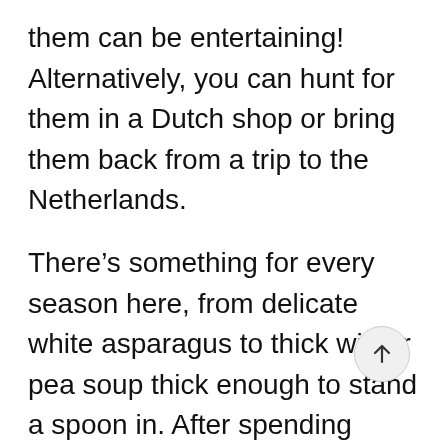them can be entertaining! Alternatively, you can hunt for them in a Dutch shop or bring them back from a trip to the Netherlands.
There's something for every season here, from delicate white asparagus to thick winter pea soup thick enough to stand a spoon in. After spending several years in the Netherlands (or Holland as it is commonly known), I always assumed that Dutch food did not exist. It does have certain traditional Dutch dishes,